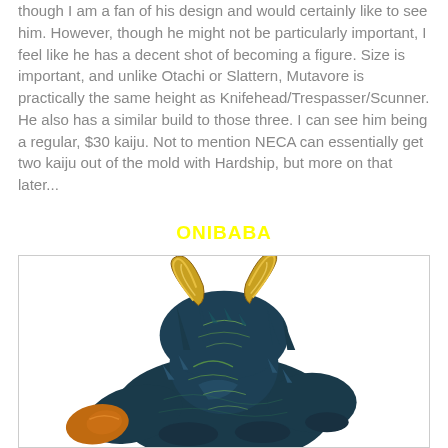though I am a fan of his design and would certainly like to see him. However, though he might not be particularly important, I feel like he has a decent shot of becoming a figure. Size is important, and unlike Otachi or Slattern, Mutavore is practically the same height as Knifehead/Trespasser/Scunner. He also has a similar build to those three. I can see him being a regular, $30 kaiju. Not to mention NECA can essentially get two kaiju out of the mold with Hardship, but more on that later...
ONIBABA
[Figure (illustration): Illustration of Onibaba, a kaiju creature from Pacific Rim, showing a dark blue-green armored beast with large curved horns/tusks, spiky carapace, and orange-yellow markings on a white background.]